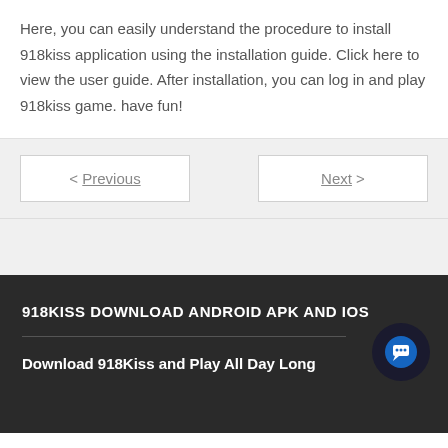Here, you can easily understand the procedure to install 918kiss application using the installation guide. Click here to view the user guide. After installation, you can log in and play 918kiss game. have fun!
< Previous
Next >
918KISS DOWNLOAD ANDROID APK AND IOS
Download 918Kiss and Play All Day Long